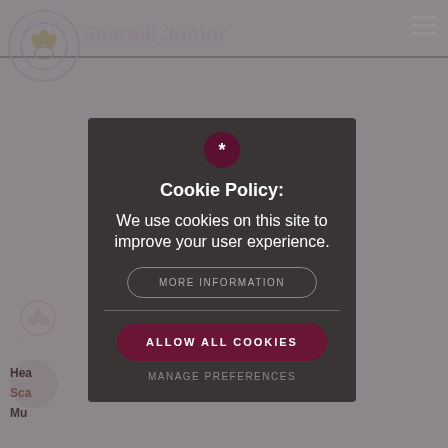[Figure (screenshot): Background website page for Scaraill Junior school with logo, navigation, and blurred content]
Cookie Policy:
We use cookies on this site to improve your user experience.
MORE INFORMATION
ALLOW ALL COOKIES
MANAGE PREFERENCES